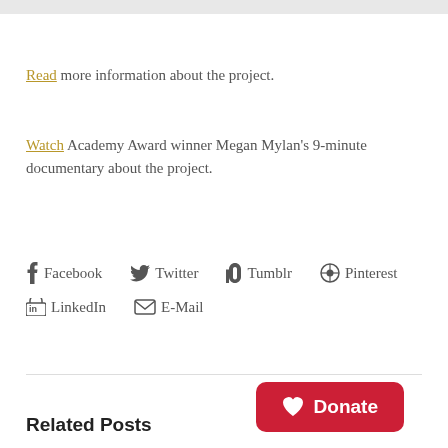Read more information about the project.
Watch Academy Award winner Megan Mylan's 9-minute documentary about the project.
Facebook Twitter Tumblr Pinterest LinkedIn E-Mail
Related Posts